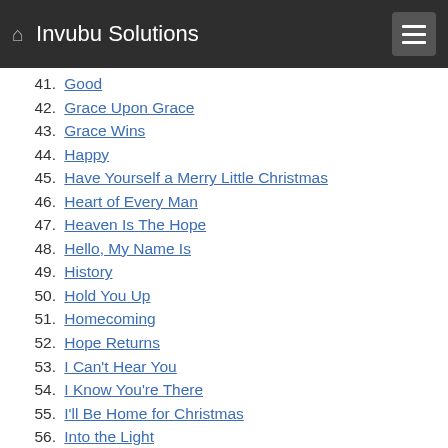Invubu Solutions
41. Good
42. Grace Upon Grace
43. Grace Wins
44. Happy
45. Have Yourself a Merry Little Christmas
46. Heart of Every Man
47. Heaven Is The Hope
48. Hello, My Name Is
49. History
50. Hold You Up
51. Homecoming
52. Hope Returns
53. I Can't Hear You
54. I Know You're There
55. I'll Be Home for Christmas
56. Into the Light
57. Intro
58. Jingle Bells